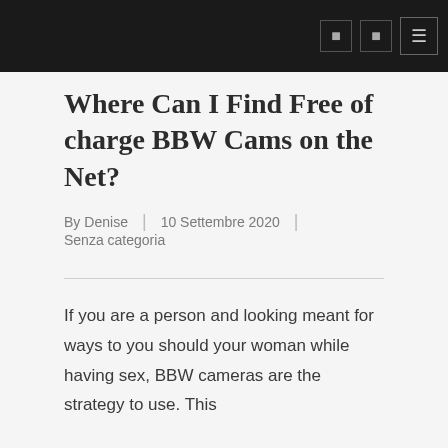Where Can I Find Free of charge BBW Cams on the Net?
By Denise | 10 Settembre 2020 | Senza categoria
If you are a person and looking meant for ways to you should your woman while having sex, BBW cameras are the strategy to use. This